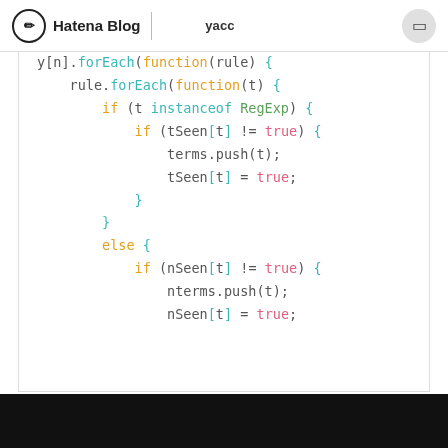Hatena Blog — yacc
[Figure (screenshot): JavaScript code snippet showing nested forEach loops with instanceof RegExp checks and tSeen/nSeen deduplication logic]